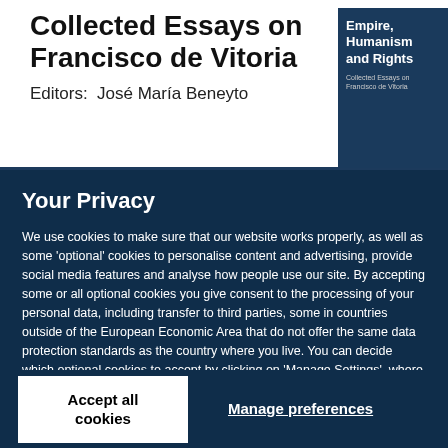Collected Essays on Francisco de Vitoria
Editors:  José María Beneyto
[Figure (illustration): Book cover showing 'Empire, Humanism and Rights — Collected Essays on Francisco de Vitoria', dark blue background with white text]
Your Privacy
We use cookies to make sure that our website works properly, as well as some 'optional' cookies to personalise content and advertising, provide social media features and analyse how people use our site. By accepting some or all optional cookies you give consent to the processing of your personal data, including transfer to third parties, some in countries outside of the European Economic Area that do not offer the same data protection standards as the country where you live. You can decide which optional cookies to accept by clicking on 'Manage Settings', where you can also find more information about how your personal data is processed. Further information can be found in our privacy policy.
Accept all cookies
Manage preferences